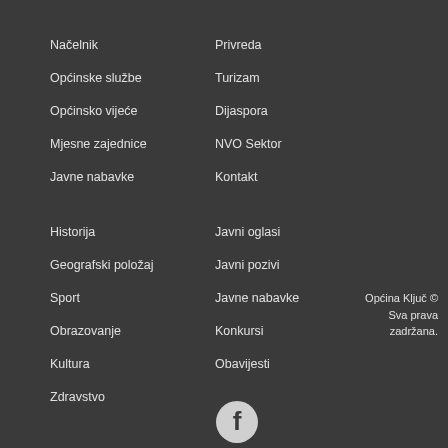Načelnik
Privreda
Općinske službe
Turizam
Općinsko vijeće
Dijaspora
Mjesne zajednice
NVO Sektor
Javne nabavke
Kontakt
Historija
Javni oglasi
Geografski položaj
Javni pozivi
Sport
Javne nabavke
Obrazovanje
Konkursi
Kultura
Obavijesti
Zdravstvo
Općina Ključ © Sva prava zadržana.
[Figure (logo): Facebook icon circle logo]